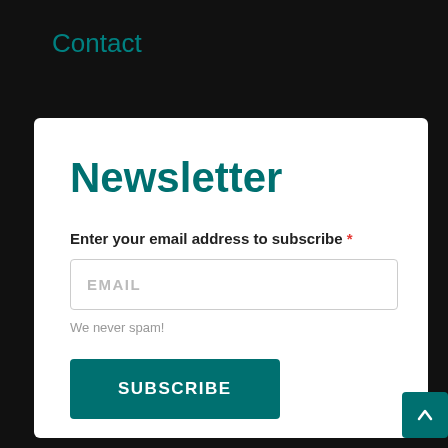Contact
Newsletter
Enter your email address to subscribe *
EMAIL
We never spam!
SUBSCRIBE